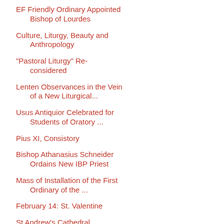EF Friendly Ordinary Appointed Bishop of Lourdes
Culture, Liturgy, Beauty and Anthropology
"Pastoral Liturgy" Re-considered
Lenten Observances in the Vein of a New Liturgical...
Usus Antiquior Celebrated for Students of Oratory ...
Pius XI, Consistory
Bishop Athanasius Schneider Ordains New IBP Priest
Mass of Installation of the First Ordinary of the ...
February 14: St. Valentine
St Andrew's Cathedral, Glasgow